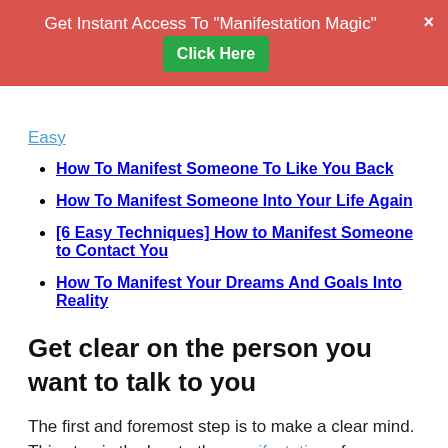Get Instant Access To "Manifestation Magic" [Click Here]
How To Manifest Someone To Like You Back
How To Manifest Someone Into Your Life Again
[6 Easy Techniques] How to Manifest Someone to Contact You
How To Manifest Your Dreams And Goals Into Reality
Get clear on the person you want to talk to you
The first and foremost step is to make a clear mind. This step is the key to the manifestation of your desire. In this